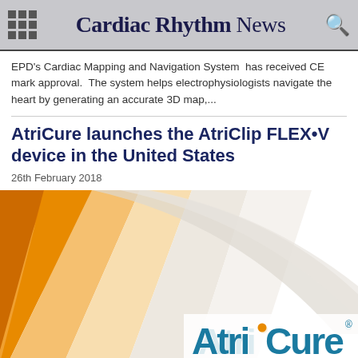Cardiac Rhythm News
EPD's Cardiac Mapping and Navigation System  has received CE mark approval.  The system helps electrophysiologists navigate the heart by generating an accurate 3D map,...
AtriCure launches the AtriClip FLEX•V device in the United States
26th February 2018
[Figure (logo): AtriCure branded image with orange and white diagonal swoosh/ribbon design on left and the AtriCure logo in blue and orange text on the lower right]